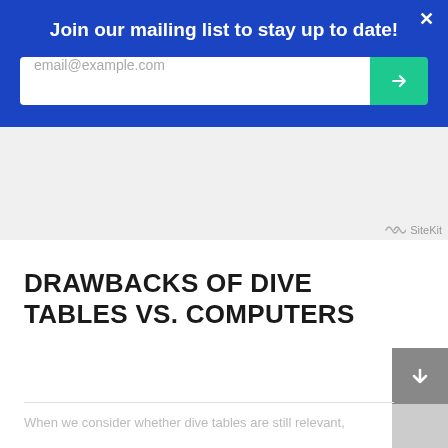Join our mailing list to stay up to date!
[Figure (screenshot): Email input field with placeholder text 'email@example.com' and a teal submit button with a right-arrow icon]
SiteKit
DRAWBACKS OF DIVE TABLES VS. COMPUTERS
When we consider whether dive tables are still relevant,